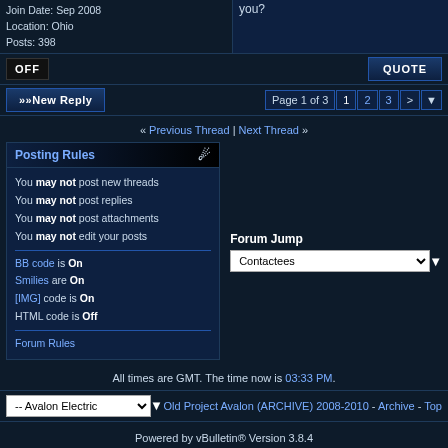Join Date: Sep 2008
Location: Ohio
Posts: 398
you?
OFF | QUOTE
>>New Reply | Page 1 of 3 | 1 2 3 > ▼
« Previous Thread | Next Thread »
Posting Rules
You may not post new threads
You may not post replies
You may not post attachments
You may not edit your posts
BB code is On
Smilies are On
[IMG] code is On
HTML code is Off
Forum Rules
Forum Jump
Contactees
All times are GMT. The time now is 03:33 PM.
-- Avalon Electric ▼ | Old Project Avalon (ARCHIVE) 2008-2010 - Archive - Top
Powered by vBulletin® Version 3.8.4
Copyright ©2000 - 2022, Jelsoft Enterprises Ltd.
Project Avalon